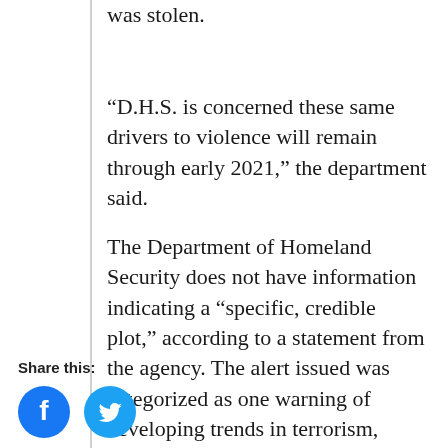was stolen.
“D.H.S. is concerned these same drivers to violence will remain through early 2021,” the department said.
The Department of Homeland Security does not have information indicating a “specific, credible plot,” according to a statement from the agency. The alert issued was categorized as one warning of developing trends in terrorism, rather than a notice of an imminent attack.
Share this:
[Figure (illustration): Facebook and Twitter social share icons (blue circles with white f and bird logos)]